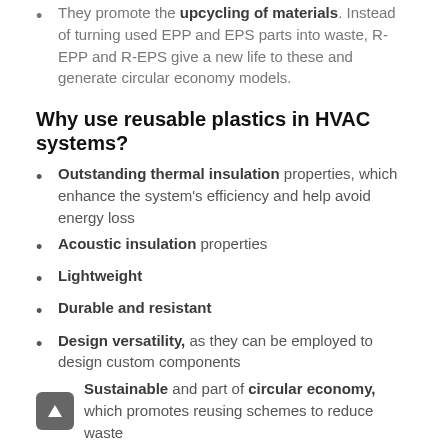They promote the upcycling of materials. Instead of turning used EPP and EPS parts into waste, R-EPP and R-EPS give a new life to these and generate circular economy models.
Why use reusable plastics in HVAC systems?
Outstanding thermal insulation properties, which enhance the system's efficiency and help avoid energy loss
Acoustic insulation properties
Lightweight
Durable and resistant
Design versatility, as they can be employed to design custom components
Sustainable and part of circular economy, which promotes reusing schemes to reduce waste